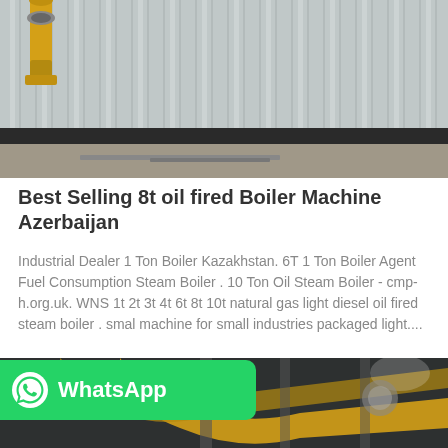[Figure (photo): Industrial boiler building exterior with corrugated metal siding and yellow pipes visible on the left]
Best Selling 8t oil fired Boiler Machine Azerbaijan
Industrial Dealer 1 Ton Boiler Kazakhstan. 6T 1 Ton Boiler Agent Fuel Consumption Steam Boiler . 10 Ton Oil Steam Boiler - cmp-h.org.uk. WNS 1t 2t 3t 4t 6t 8t 10t natural gas light diesel oil fired steam boiler . smal machine for small industries packaged light....
Get Price
[Figure (photo): Industrial boiler room interior with yellow pipes and steel beams, WhatsApp button overlay]
WhatsApp